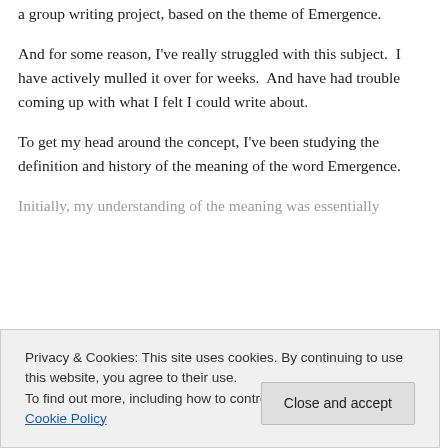a group writing project, based on the theme of Emergence.
And for some reason, I've really struggled with this subject.  I have actively mulled it over for weeks.  And have had trouble coming up with what I felt I could write about.
To get my head around the concept, I've been studying the definition and history of the meaning of the word Emergence.
Initially, my understanding of the meaning was essentially...
Privacy & Cookies: This site uses cookies. By continuing to use this website, you agree to their use.
To find out more, including how to control cookies, see here: Cookie Policy
personal level.  My entire concept of reality is rarely that